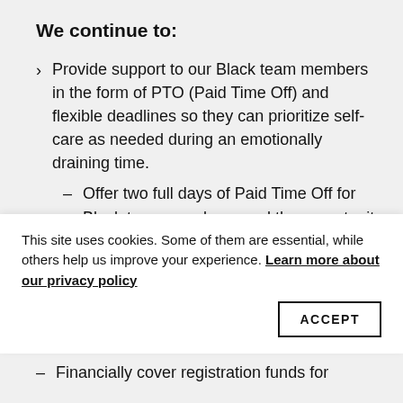We continue to:
Provide support to our Black team members in the form of PTO (Paid Time Off) and flexible deadlines so they can prioritize self-care as needed during an emotionally draining time.
Offer two full days of Paid Time Off for Black team members, and the opportunity to request more as needed.
Continually prioritize their personal needs over deadlines, and communicate to colleagues and organization leadership about moving deadlines due to needed personal time for staff.
This site uses cookies. Some of them are essential, while others help us improve your experience. Learn more about our privacy policy
Financially cover registration funds for